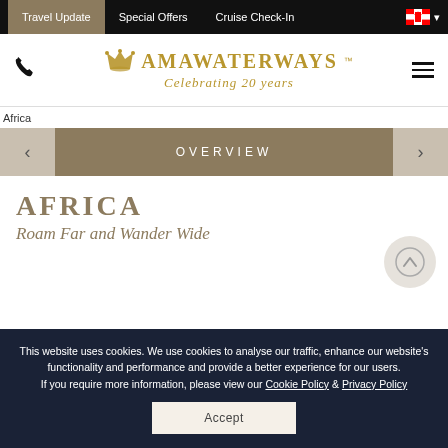Travel Update | Special Offers | Cruise Check-In
[Figure (logo): AmaWaterways logo with crown icon and text 'AmaWaterways Celebrating 20 years']
[Figure (screenshot): Africa image placeholder with tab navigation showing OVERVIEW tab selected]
AFRICA
Roam Far and Wander Wide
This website uses cookies. We use cookies to analyse our traffic, enhance our website's functionality and performance and provide a better experience for our users. If you require more information, please view our Cookie Policy & Privacy Policy
Accept